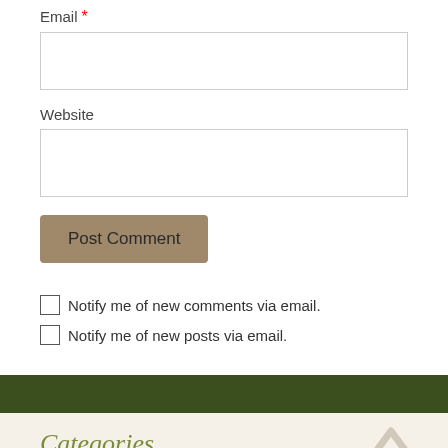Email *
Website
Post Comment
Notify me of new comments via email.
Notify me of new posts via email.
Categories
Building